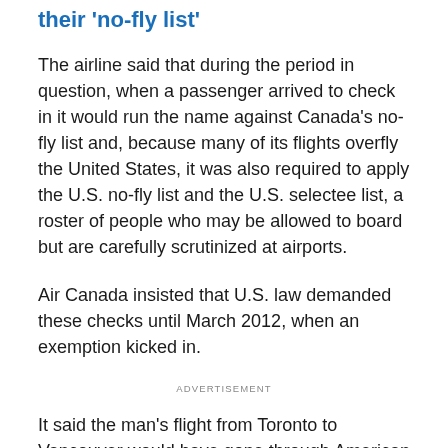their 'no-fly list'
The airline said that during the period in question, when a passenger arrived to check in it would run the name against Canada's no-fly list and, because many of its flights overfly the United States, it was also required to apply the U.S. no-fly list and the U.S. selectee list, a roster of people who may be allowed to board but are carefully scrutinized at airports.
Air Canada insisted that U.S. law demanded these checks until March 2012, when an exemption kicked in.
ADVERTISEMENT
It said the man's flight from Toronto to Vancouver would have gone through American airspace. In addition, he was barred from flying even the initial